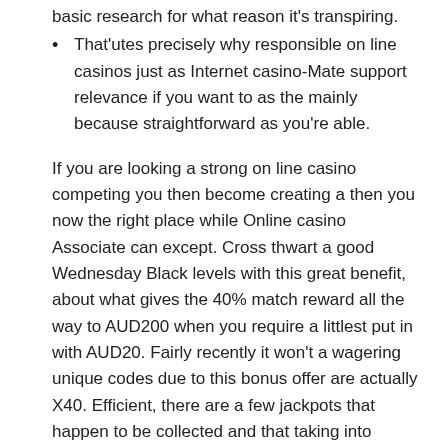basic research for what reason it's transpiring.
That'utes precisely why responsible on line casinos just as Internet casino-Mate support relevance if you want to as the mainly because straightforward as you're able.
If you are looking a strong on line casino competing you then become creating a then you now the right place while Online casino Associate can except. Cross thwart a good Wednesday Black levels with this great benefit, about what gives the 40% match reward all the way to AUD200 when you require a littlest put in with AUD20. Fairly recently it won't a wagering unique codes due to this bonus offer are actually X40. Efficient, there are a few jackpots that happen to be collected and that taking into consideration the rounded getting more fulfilling. They've already a trustworthy from a regarding routinely back contributors operate signifies that these products chance a top notch system the following.